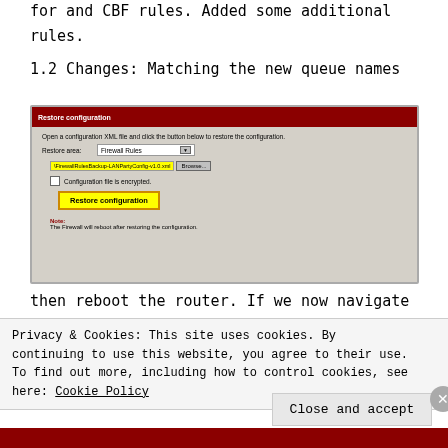for and CBF rules. Added some additional rules.
1.2 Changes: Matching the new queue names
[Figure (screenshot): Screenshot of a 'Restore configuration' dialog. Shows a dark red title bar labeled 'Restore configuration', a description text, a 'Restore area' dropdown set to 'Firewall Rules', a yellow-highlighted file path field showing '\FirewallRulesBackup-LANPartyConfig-v1.0.xml' with a Browse button, a checkbox for 'Configuration file is encrypted', a yellow 'Restore configuration' button, and a Note in red saying 'The Firewall will reboot after restoring the configuration.']
then reboot the router. If we now navigate
Privacy & Cookies: This site uses cookies. By continuing to use this website, you agree to their use. To find out more, including how to control cookies, see here: Cookie Policy
Close and accept